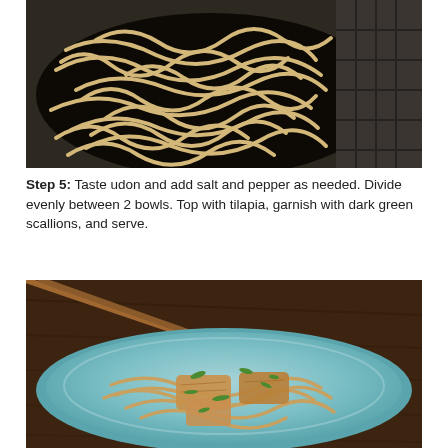[Figure (photo): Udon noodles being stir-fried in a dark wok on a stovetop, noodles are pale and tangled]
Step 5: Taste udon and add salt and pepper as needed. Divide evenly between 2 bowls. Top with tilapia, garnish with dark green scallions, and serve.
[Figure (photo): A light blue bowl containing cooked tilapia pieces on top of udon noodles garnished with sliced dark green scallions, with chopsticks resting on the bowl, on a dark wooden surface]